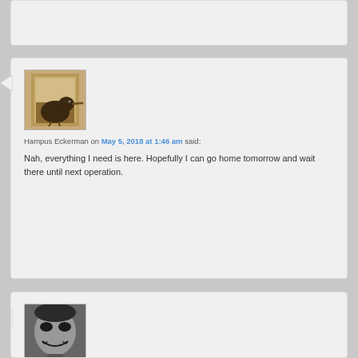[Figure (screenshot): Partial top of a blog comment card, cut off at top]
[Figure (photo): Avatar image of a kiwi bird silhouette against a brownish background]
Hampus Eckerman on May 5, 2018 at 1:46 am said:
Nah, everything I need is here. Hopefully I can go home tomorrow and wait there until next operation.
[Figure (photo): Avatar image of a person in Joker-style face paint, black and white photo]
GSLamb on May 5, 2018 at 3:16 am said:
I have come up empty, so I am sharing my friend's